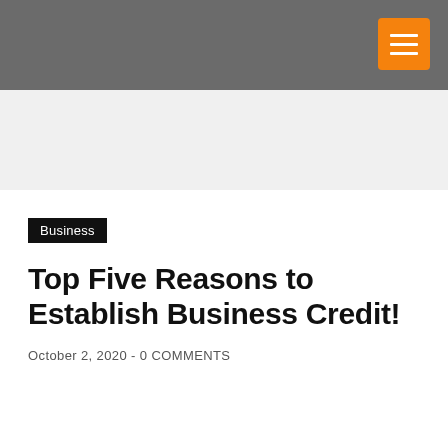[Figure (other): Gray header bar with orange hamburger menu button in top right corner]
[Figure (other): Light gray advertisement/banner placeholder area]
Business
Top Five Reasons to Establish Business Credit!
October 2, 2020 - 0 COMMENTS